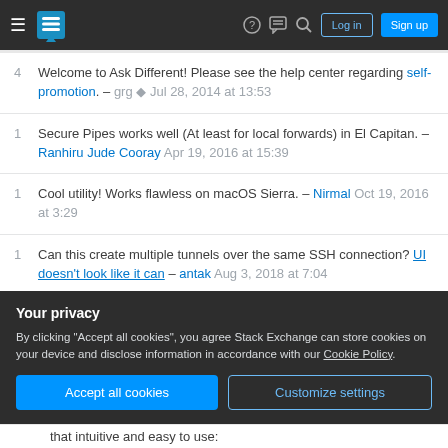Stack Exchange navigation bar with hamburger menu, logo, help, chat, search icons, Log in and Sign up buttons
4  Welcome to Ask Different! Please see the help center regarding self-promotion. – grg ◆ Jul 28, 2014 at 13:53
1  Secure Pipes works well (At least for local forwards) in El Capitan. – Ranhiru Jude Cooray Apr 19, 2016 at 15:39
1  Cool utility! Works flawless on macOS Sierra. – Nirmal Oct 19, 2016 at 3:29
1  Can this create multiple tunnels over the same SSH connection? UI doesn't look like it can – antak Aug 3, 2018 at 7:04
Your privacy
By clicking "Accept all cookies", you agree Stack Exchange can store cookies on your device and disclose information in accordance with our Cookie Policy.
Accept all cookies   Customize settings
that intuitive and easy to use: